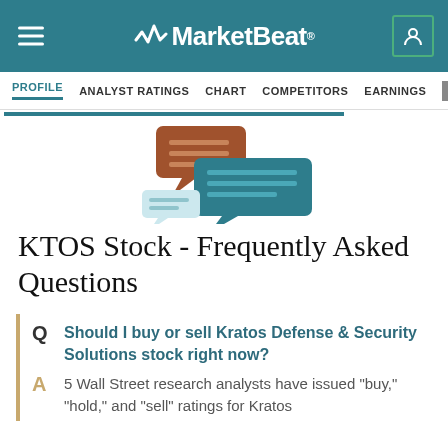MarketBeat
PROFILE  ANALYST RATINGS  CHART  COMPETITORS  EARNINGS  FINANCIAL
[Figure (illustration): Two speech/chat bubble icons representing FAQ: one brown/orange smaller bubble on top-left, one teal/dark cyan larger bubble in the middle, one small light blue bubble at bottom-left]
KTOS Stock - Frequently Asked Questions
Q  Should I buy or sell Kratos Defense & Security Solutions stock right now?
A  5 Wall Street research analysts have issued "buy," "hold," and "sell" ratings for Kratos